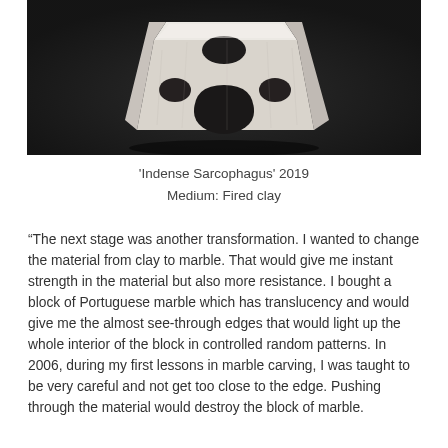[Figure (photo): A white fired clay sculpture resembling an abstract sarcophagus or block form with holes and carved openings, photographed against a dark background.]
'Indense Sarcophagus' 2019
Medium: Fired clay
“The next stage was another transformation. I wanted to change the material from clay to marble. That would give me instant strength in the material but also more resistance. I bought a block of Portuguese marble which has translucency and would give me the almost see-through edges that would light up the whole interior of the block in controlled random patterns. In 2006, during my first lessons in marble carving, I was taught to be very careful and not get too close to the edge. Pushing through the material would destroy the block of marble.